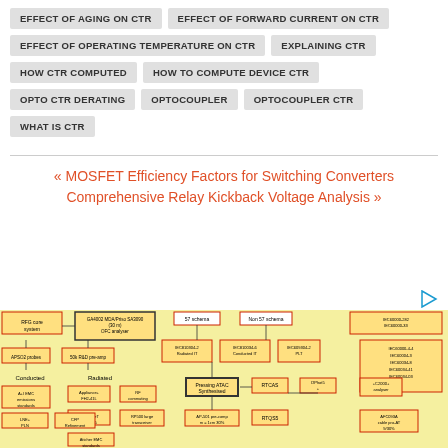EFFECT OF AGING ON CTR
EFFECT OF FORWARD CURRENT ON CTR
EFFECT OF OPERATING TEMPERATURE ON CTR
EXPLAINING CTR
HOW CTR COMPUTED
HOW TO COMPUTE DEVICE CTR
OPTO CTR DERATING
OPTOCOUPLER
OPTOCOUPLER CTR
WHAT IS CTR
« MOSFET Efficiency Factors for Switching Converters
Comprehensive Relay Kickback Voltage Analysis »
[Figure (flowchart): Partial flowchart/block diagram on yellow background showing EMC testing system with blocks including RFG core system, GA4002 MDA, spectrum analysers, APSO2 probes, Conducted/Radiated paths, Appliance/FH2-41L, LuminaireEMB975, Attcher EMC standards, LNE/PLN, CFP/Refilevance, RTCAS, RTQSA large, AP-501, ATC4B blocks and various standards references on right side including IEC/CISPR standards. Yellow background with red/pink bordered boxes and black text.]